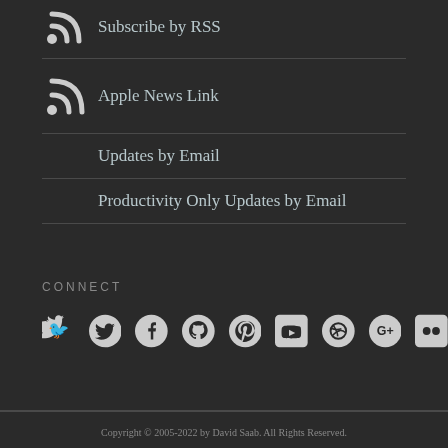Subscribe by RSS
Apple News Link
Updates by Email
Productivity Only Updates by Email
CONNECT
[Figure (infographic): Row of social media icons: Twitter, Facebook, GitHub, Pinterest, YouTube, Dribbble, Google+, Flickr]
Copyright © 2005-2022 by David Saab. All Rights Reserved.